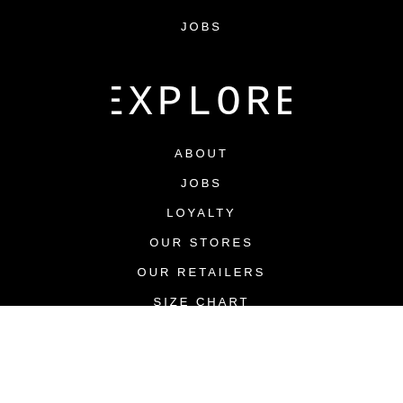JOBS
EXPLORE
ABOUT
JOBS
LOYALTY
OUR STORES
OUR RETAILERS
SIZE CHART
Silver / 5.5
1
ADD TO CART